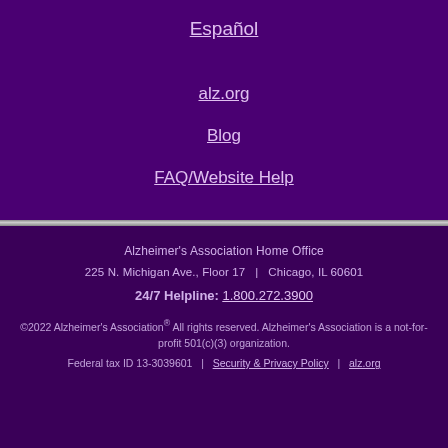Español
alz.org
Blog
FAQ/Website Help
Alzheimer's Association Home Office
225 N. Michigan Ave., Floor 17  |  Chicago, IL 60601
24/7 Helpline: 1.800.272.3900
©2022 Alzheimer's Association® All rights reserved. Alzheimer's Association is a not-for-profit 501(c)(3) organization. Federal tax ID 13-3039601  |  Security & Privacy Policy  |  alz.org